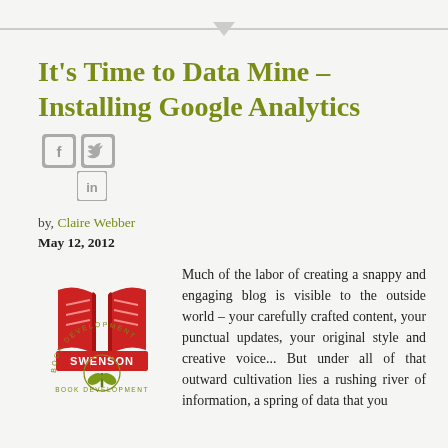It's Time to Data Mine – Installing Google Analytics
[Figure (illustration): Social media share icons: Facebook (f), Twitter (bird), LinkedIn (in)]
by, Claire Webber
May 12, 2012
[Figure (logo): Swenson Book Development logo: red open book with green plant/sprout below, red banner with SWENSON text, circular text reading BOOK DEVELOPMENT]
Much of the labor of creating a snappy and engaging blog is visible to the outside world – your carefully crafted content, your punctual updates, your original style and creative voice... But under all of that outward cultivation lies a rushing river of information, a spring of data that you